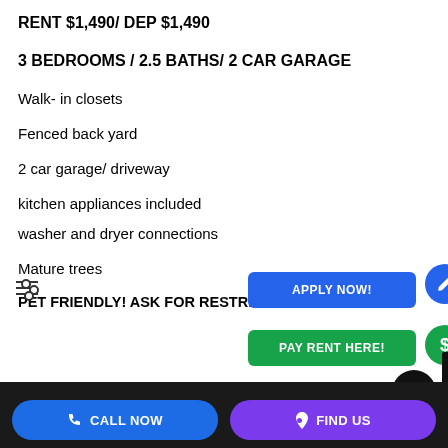RENT $1,490/ DEP $1,490
3 BEDROOMS / 2.5 BATHS/ 2 CAR GARAGE
Walk- in closets
Fenced back yard
2 car garage/ driveway
kitchen appliances included
washer and dryer connections
Mature trees
PET FRIENDLY! ASK FOR RESTRICTIONS AND FEES
CALL NOW | FIND US